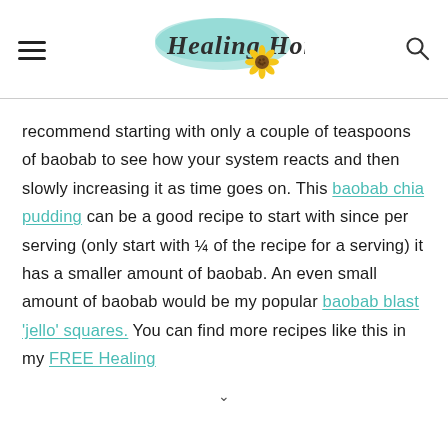Healing Home (logo with hamburger menu and search icon)
recommend starting with only a couple of teaspoons of baobab to see how your system reacts and then slowly increasing it as time goes on. This baobab chia pudding can be a good recipe to start with since per serving (only start with ¼ of the recipe for a serving) it has a smaller amount of baobab. An even small amount of baobab would be my popular baobab blast 'jello' squares. You can find more recipes like this in my FREE Healing